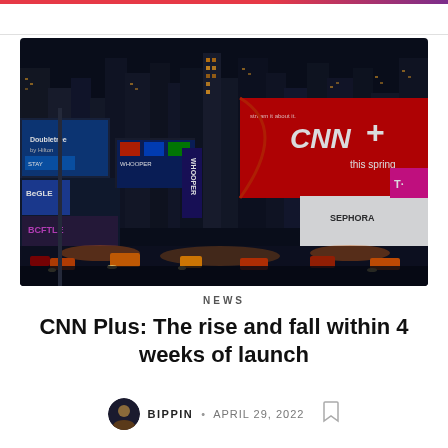[Figure (photo): Night-time Times Square street scene showing CNN+ billboard advertisement on large red screen, surrounded by various illuminated billboards and skyscrapers, busy traffic below]
NEWS
CNN Plus: The rise and fall within 4 weeks of launch
BIPPIN · APRIL 29, 2022